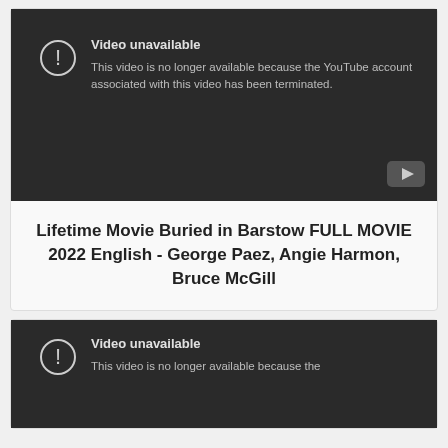[Figure (screenshot): YouTube video unavailable placeholder with dark background, exclamation icon in circle, 'Video unavailable' title, and message 'This video is no longer available because the YouTube account associated with this video has been terminated.' YouTube logo button in bottom right corner.]
Lifetime Movie Buried in Barstow FULL MOVIE 2022 English - George Paez, Angie Harmon, Bruce McGill
[Figure (screenshot): YouTube video unavailable placeholder with dark background, exclamation icon in circle, 'Video unavailable' title, and partial message 'This video is no longer available because the'.]